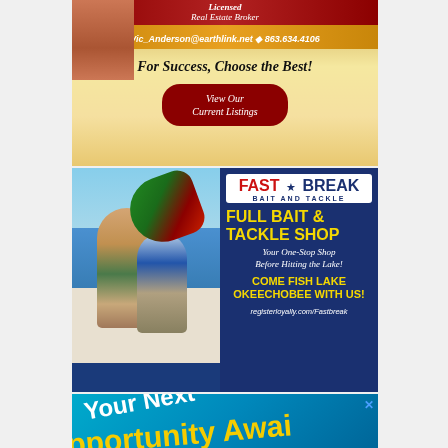[Figure (illustration): Real estate broker advertisement with photo of woman in red jacket. Shows 'Licensed Real Estate Broker', contact email Vic_Anderson@earthlink.net, phone 863.634.4106, slogan 'For Success, Choose the Best!' and button 'View Our Current Listings']
[Figure (photo): Fast Break Bait and Tackle advertisement. Blue background with photo of adult and child fishing on a boat, holding a bass. Logo 'FAST BREAK BAIT AND TACKLE'. Text: FULL BAIT & TACKLE SHOP, Your One-Stop Shop Before Hitting the Lake!, COME FISH LAKE OKEECHOBEE WITH US!, registerloyally.com/Fastbreak]
[Figure (illustration): Partial advertisement on teal/blue background with text 'Your Next' and partial text 'Opportunity Await...']